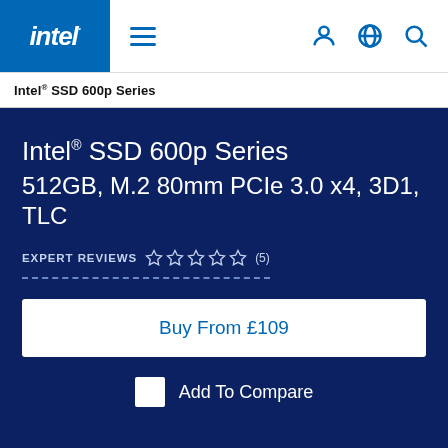[Figure (logo): Intel logo in blue square, white bold italic text 'intel.' with period]
Intel® SSD 600p Series
Intel® SSD 600p Series
512GB, M.2 80mm PCIe 3.0 x4, 3D1, TLC
EXPERT REVIEWS ☆☆☆☆☆ (5)
Buy From £109
Add To Compare
Specifications   Reviews   Downloads